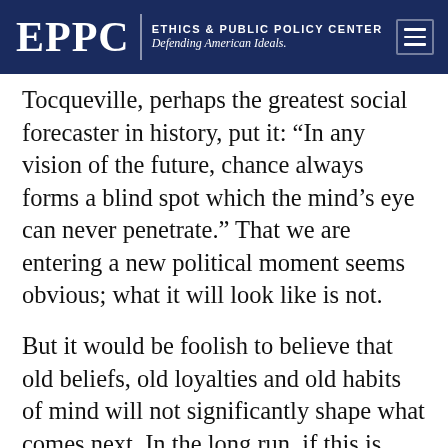EPPC | ETHICS & PUBLIC POLICY CENTER Defending American Ideals.
Tocqueville, perhaps the greatest social forecaster in history, put it: “In any vision of the future, chance always forms a blind spot which the mind’s eye can never penetrate.” That we are entering a new political moment seems obvious; what it will look like is not.
But it would be foolish to believe that old beliefs, old loyalties and old habits of mind will not significantly shape what comes next. In the long run, if this is true, America will fare well. Its history is basically a story of rising to the occasion when the moment demands it. But it is